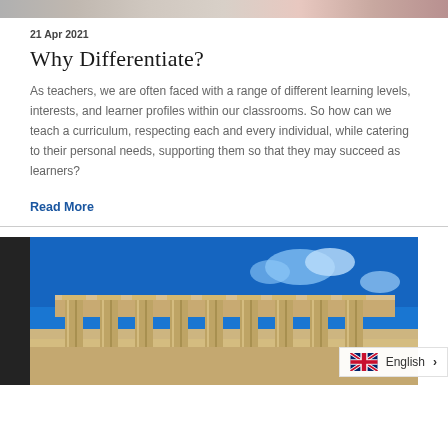[Figure (photo): Partial top image showing classroom or children activity, cropped]
21 Apr 2021
Why Differentiate?
As teachers, we are often faced with a range of different learning levels, interests, and learner profiles within our classrooms. So how can we teach a curriculum, respecting each and every individual, while catering to their personal needs, supporting them so that they may succeed as learners?
Read More
[Figure (photo): Photo of ancient Greek temple (Parthenon) with columns against a blue sky]